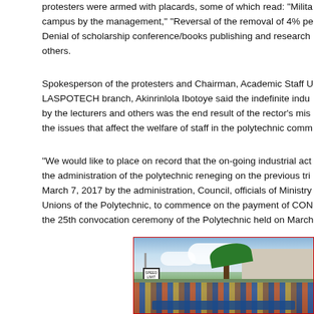protesters were armed with placards, some of which read: “Milita campus by the management,” “Reversal of the removal of 4% pe Denial of scholarship conference/books publishing and research others.
Spokesperson of the protesters and Chairman, Academic Staff U LASPOTECH branch, Akinrinlola Ibotoye said the indefinite indu by the lecturers and others was the end result of the rector’s mis the issues that affect the welfare of staff in the polytechnic comm
“We would like to place on record that the on-going industrial act the administration of the polytechnic reneging on the previous tri March 7, 2017 by the administration, Council, officials of Ministry Unions of the Polytechnic, to commence on the payment of CON the 25th convocation ceremony of the Polytechnic held on March
[Figure (photo): Crowd of protesters outdoors holding placards and a banner, with palm trees, a building, and a speed limit sign visible in the background. A blue banner with text is visible at the bottom of the crowd.]